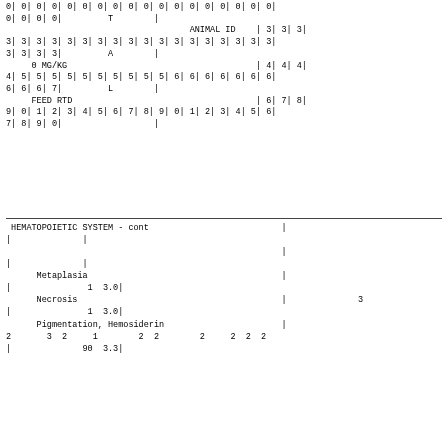| 0| 0| 0| 0| 0| 0| 0| 0| 0| 0| 0| 0| 0| 0| 0| 0| 0| 0| |
| 0| 0| 0| 0|         T        | |
|                                     ANIMAL ID    | 3| 3| 3| |
| 3| 3| 3| 3| 3| 3| 3| 3| 3| 3| 3| 3| 3| 3| 3| 3| 3| 3| |
| 3| 3| 3| 3|         A        | |
|      0 MG/KG                                     | 4| 4| 4| |
| 4| 5| 5| 5| 5| 5| 5| 5| 5| 5| 5| 6| 6| 6| 6| 6| 6| 6| |
| 6| 6| 6| 7|         L        | |
|      FEED RTD                                    | 6| 7| 8| |
| 9| 0| 1| 2| 3| 4| 5| 6| 7| 8| 9| 0| 1| 2| 3| 4| 5| 6| |
| 7| 8| 9| 0|                  | |
HEMATOPOIETIC SYSTEM - cont
| | | | |  |
|  |  | | |
| | | | |  |
| Metaplasia | | |  |
| | | 1  3.0| |  |
| Necrosis | | | 3 |
| | | 1  3.0| |  |
| Pigmentation, Hemosiderin | | |  |
| 2 | 3  2     1        2  2        2     2  2  2 |  |
| | | 90  3.3| |  |